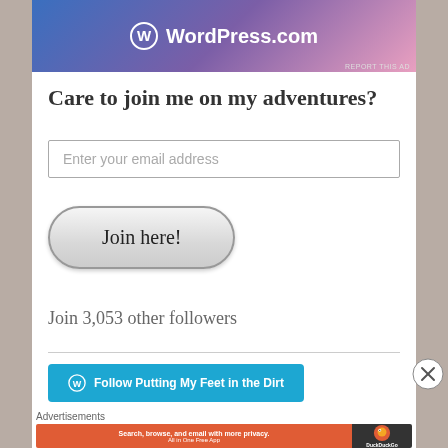[Figure (screenshot): WordPress.com advertisement banner at top of page with gradient blue-purple-pink background and WordPress logo]
Care to join me on my adventures?
[Figure (screenshot): Email input field with placeholder text 'Enter your email address']
[Figure (screenshot): Join here! button with rounded pill shape and gradient gray background]
Join 3,053 other followers
[Figure (screenshot): Follow Putting My Feet in the Dirt button with WordPress logo and blue background]
Advertisements
[Figure (screenshot): DuckDuckGo advertisement banner: Search, browse, and email with more privacy. All in One Free App - with orange background on left and dark background with DuckDuckGo logo on right]